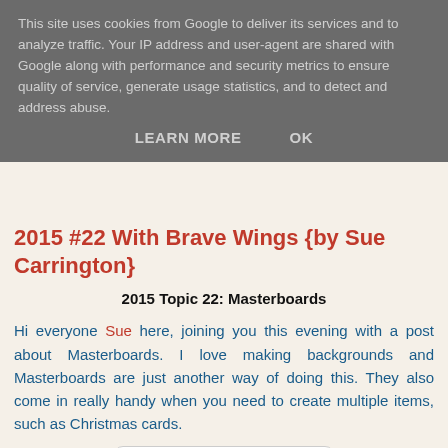This site uses cookies from Google to deliver its services and to analyze traffic. Your IP address and user-agent are shared with Google along with performance and security metrics to ensure quality of service, generate usage statistics, and to detect and address abuse.
LEARN MORE   OK
2015 #22 With Brave Wings {by Sue Carrington}
2015 Topic 22: Masterboards
Hi everyone Sue here, joining you this evening with a post about Masterboards. I love making backgrounds and Masterboards are just another way of doing this. They also come in really handy when you need to create multiple items, such as Christmas cards.
[Figure (photo): Photograph of crafted Masterboard cards with teal/green background and floral/bird stamp designs]